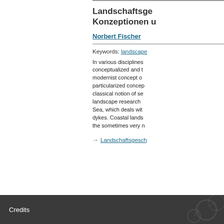[Figure (other): Teal/dark blue horizontal bar at top left of left panel]
Landschaftsge­ Konzeptionen u
Norbert Fischer
Keywords: landscape
In various disciplines conceptualized and t modernist concept o particularized concep classical notion of se landscape research Sea, which deals wit dykes. Coastal lands the sometimes very n
→ Landschaftsgesch
Credits